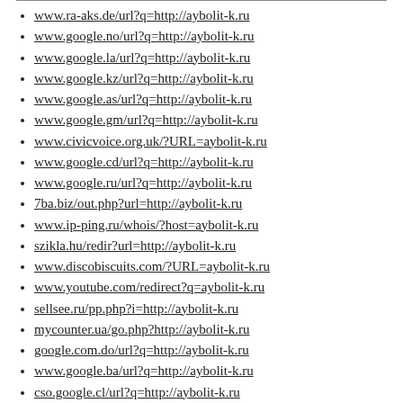www.ra-aks.de/url?q=http://aybolit-k.ru
www.google.no/url?q=http://aybolit-k.ru
www.google.la/url?q=http://aybolit-k.ru
www.google.kz/url?q=http://aybolit-k.ru
www.google.as/url?q=http://aybolit-k.ru
www.google.gm/url?q=http://aybolit-k.ru
www.civicvoice.org.uk/?URL=aybolit-k.ru
www.google.cd/url?q=http://aybolit-k.ru
www.google.ru/url?q=http://aybolit-k.ru
7ba.biz/out.php?url=http://aybolit-k.ru
www.ip-ping.ru/whois/?host=aybolit-k.ru
szikla.hu/redir?url=http://aybolit-k.ru
www.discobiscuits.com/?URL=aybolit-k.ru
www.youtube.com/redirect?q=aybolit-k.ru
sellsee.ru/pp.php?i=http://aybolit-k.ru
mycounter.ua/go.php?http://aybolit-k.ru
google.com.do/url?q=http://aybolit-k.ru
www.google.ba/url?q=http://aybolit-k.ru
cso.google.cl/url?q=http://aybolit-k.ru